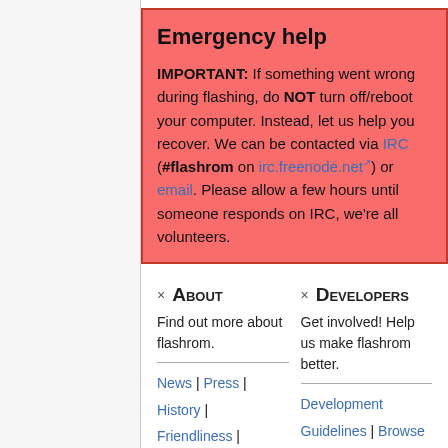Emergency help
IMPORTANT: If something went wrong during flashing, do NOT turn off/reboot your computer. Instead, let us help you recover. We can be contacted via IRC (#flashrom on irc.freenode.net) or email. Please allow a few hours until someone responds on IRC, we're all volunteers.
× About
Find out more about flashrom.
News | Press | History | Friendliness | Feature
× Developers
Get involved! Help us make flashrom better.
Development Guidelines | Browse Source | Pending patches